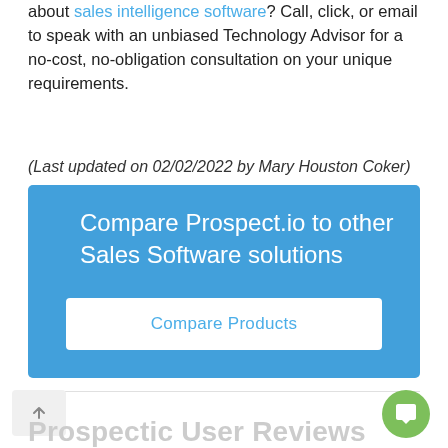about sales intelligence software? Call, click, or email to speak with an unbiased Technology Advisor for a no-cost, no-obligation consultation on your unique requirements.
(Last updated on 02/02/2022 by Mary Houston Coker)
[Figure (infographic): Blue promotional banner with text 'Compare Prospect.io to other Sales Software solutions' and a white 'Compare Products' button]
Prospect.io User Reviews